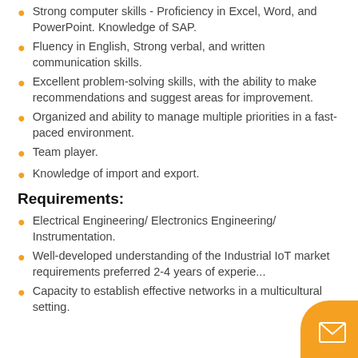Strong computer skills - Proficiency in Excel, Word, and PowerPoint. Knowledge of SAP.
Fluency in English, Strong verbal, and written communication skills.
Excellent problem-solving skills, with the ability to make recommendations and suggest areas for improvement.
Organized and ability to manage multiple priorities in a fast-paced environment.
Team player.
Knowledge of import and export.
Requirements:
Electrical Engineering/ Electronics Engineering/ Instrumentation.
Well-developed understanding of the Industrial IoT market requirements preferred 2-4 years of experience.
Capacity to establish effective networks in a multicultural setting.